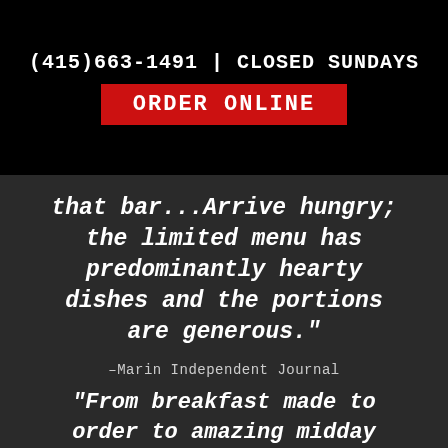(415)663-1491 | CLOSED SUNDAYS
ORDER ONLINE
that bar...Arrive hungry; the limited menu has predominantly hearty dishes and the portions are generous."
-Marin Independent Journal
“From breakfast made to order to amazing midday fare, from achingly fresh